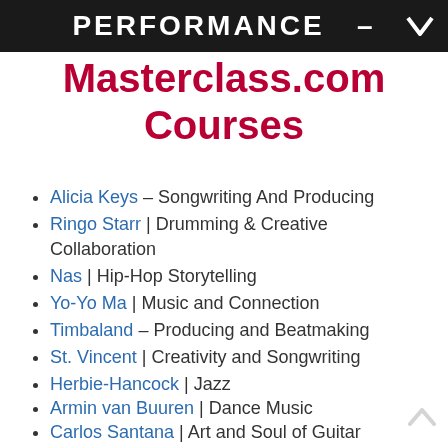[Figure (photo): Dark banner with white bold text reading PERFORMANCE and a partial logo on the right side]
Masterclass.com Courses
Alicia Keys – Songwriting And Producing
Ringo Starr | Drumming & Creative Collaboration
Nas | Hip-Hop Storytelling
Yo-Yo Ma | Music and Connection
Timbaland – Producing and Beatmaking
St. Vincent | Creativity and Songwriting
Herbie-Hancock | Jazz
Armin van Buuren | Dance Music
Carlos Santana | Art and Soul of Guitar
Hans Zimmer | Film Scoring